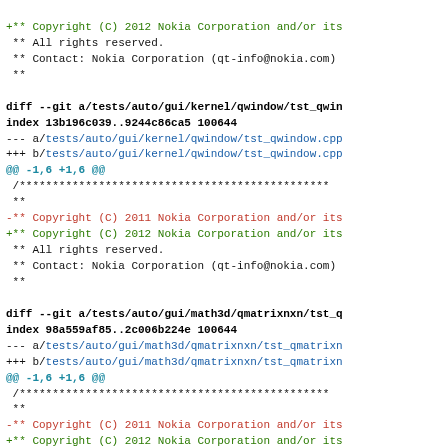git diff output showing copyright year changes from 2011 to 2012 in Qt test files
+** Copyright (C) 2012 Nokia Corporation and/or its
 ** All rights reserved.
 ** Contact: Nokia Corporation (qt-info@nokia.com)
 **

diff --git a/tests/auto/gui/kernel/qwindow/tst_qwin
index 13b196c039..9244c86ca5 100644
--- a/tests/auto/gui/kernel/qwindow/tst_qwindow.cpp
+++ b/tests/auto/gui/kernel/qwindow/tst_qwindow.cpp
@@ -1,6 +1,6 @@
 /******
 **
-** Copyright (C) 2011 Nokia Corporation and/or its
+** Copyright (C) 2012 Nokia Corporation and/or its
 ** All rights reserved.
 ** Contact: Nokia Corporation (qt-info@nokia.com)
 **

diff --git a/tests/auto/gui/math3d/qmatrixnxn/tst_q
index 98a559af85..2c006b224e 100644
--- a/tests/auto/gui/math3d/qmatrixnxn/tst_qmatrixn
+++ b/tests/auto/gui/math3d/qmatrixnxn/tst_qmatrixn
@@ -1,6 +1,6 @@
 /******
 **
-** Copyright (C) 2011 Nokia Corporation and/or its
+** Copyright (C) 2012 Nokia Corporation and/or its
 ** All rights reserved.
 ** Contact: Nokia Corporation (qt-info@nokia.com)
 **